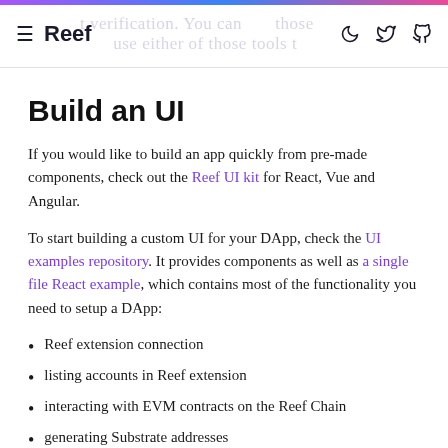≡ Reef
Build an UI
If you would like to build an app quickly from pre-made components, check out the Reef UI kit for React, Vue and Angular.
To start building a custom UI for your DApp, check the UI examples repository. It provides components as well as a single file React example, which contains most of the functionality you need to setup a DApp:
Reef extension connection
listing accounts in Reef extension
interacting with EVM contracts on the Reef Chain
generating Substrate addresses